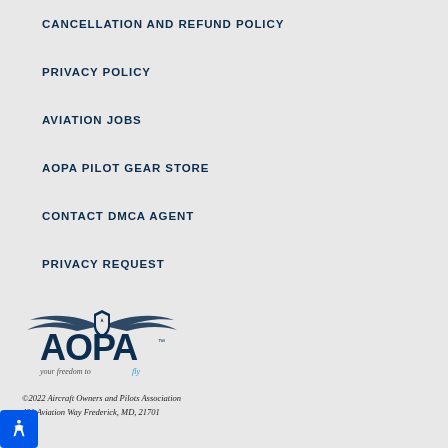CANCELLATION AND REFUND POLICY
PRIVACY POLICY
AVIATION JOBS
AOPA PILOT GEAR STORE
CONTACT DMCA AGENT
PRIVACY REQUEST
[Figure (logo): AOPA logo with wings, shield, and tagline 'your freedom to fly']
©2022 Aircraft Owners and Pilots Association
421 Aviation Way Frederick, MD, 21701